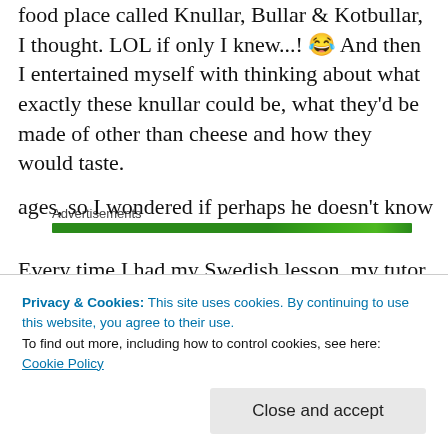food place called Knullar, Bullar & Kotbullar, I thought. LOL if only I knew...! 😂 And then I entertained myself with thinking about what exactly these knullar could be, what they'd be made of other than cheese and how they would taste.
Advertisements
[Figure (other): Green advertisement bar]
Every time I had my Swedish lesson, my tutor would give me time where I could ask him all sorts of Swedish questions, be it about language or
Privacy & Cookies: This site uses cookies. By continuing to use this website, you agree to their use.
To find out more, including how to control cookies, see here: Cookie Policy
ages, so I wondered if perhaps he doesn't know